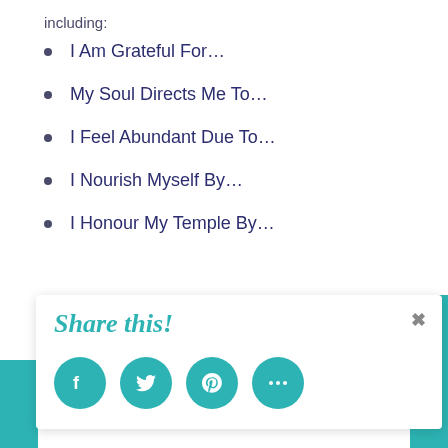including:
I Am Grateful For…
My Soul Directs Me To…
I Feel Abundant Due To…
I Nourish Myself By…
I Honour My Temple By…
Share this!
[Figure (infographic): Share this social media panel with Facebook, Twitter, Pinterest, and more (ellipsis) icon buttons in teal circles, with a close (x) button]